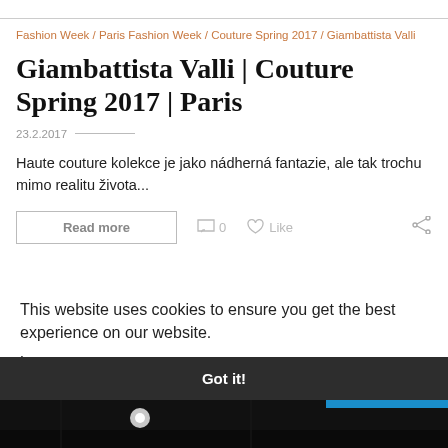Fashion Week / Paris Fashion Week / Couture Spring 2017 / Giambattista Valli
Giambattista Valli | Couture Spring 2017 | Paris
23.2.2017
Haute couture kolekce je jako nádherná fantazie, ale tak trochu mimo realitu života...
Read more   0   Like
This website uses cookies to ensure you get the best experience on our website.
Learn more
ofile
Got it!
[Figure (photo): Dark photo strip at the bottom of the page showing a fashion event with stage lighting]